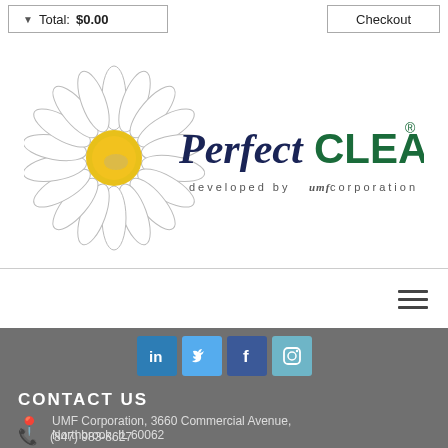Total: $0.00   Checkout
[Figure (logo): PerfectCLEAN logo with daisy flower, developed by UMF corporation]
[Figure (other): Horizontal divider line]
[Figure (other): Hamburger menu icon (three horizontal lines)]
[Figure (other): Social media icons: LinkedIn, Twitter, Facebook, Instagram]
CONTACT US
UMF Corporation, 3660 Commercial Avenue, Northbrook, IL 60062
(847) 983-8627
info@perfectclean.com